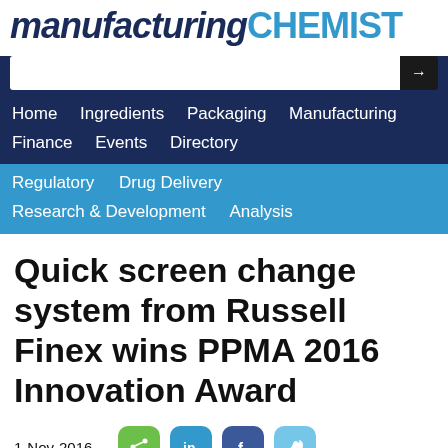manufacturing CHEMIST
[Figure (screenshot): Navigation bar with search box and menu items: Home, Ingredients, Packaging, Manufacturing, Finance, Events, Directory (dark blue row), and Regulatory, Drug Delivery, Research & Development, Analysis (light blue row)]
Quick screen change system from Russell Finex wins PPMA 2016 Innovation Award
1-Nov-2016
[Figure (infographic): Social sharing buttons: green share button, teal LinkedIn button, dark blue Facebook button, light blue Twitter button]